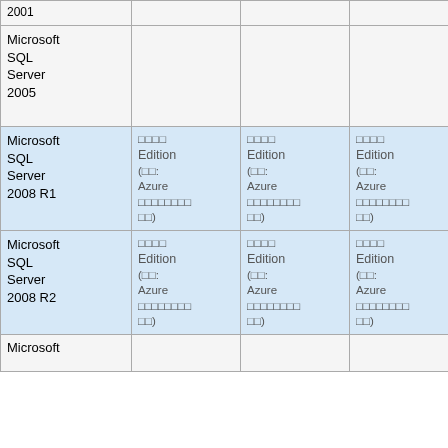| Product | Col1 | Col2 | Col3 | Col4 | Col5 | Col6 | Col7 |
| --- | --- | --- | --- | --- | --- | --- | --- |
| (partial top row - cut off) |  |  |  |  |  |  |  |
| Microsoft SQL Server 2005 |  |  |  |  |  |  |  |
| Microsoft SQL Server 2008 R1 | □□□□ Edition (□□: Azure □□□□□□□□) | □□□□ Edition (□□: Azure □□□□□□□□) | □□□□ Edition (□□: Azure □□□□□□□□) | □□□□ Edition (□□: Azure □□□□□□□□) | □□□□ Edition (□□: Azure □□□□□□□□) | □□□□ Edition (□□: Azure □□□□□□□□) | □□□□ Editio (□□: Azure □□□□□□□□) |
| Microsoft SQL Server 2008 R2 | □□□□ Edition (□□: Azure □□□□□□□□) | □□□□ Edition (□□: Azure □□□□□□□□) | □□□□ Edition (□□: Azure □□□□□□□□) | □□□□ Edition (□□: Azure □□□□□□□□) | □□□□ Edition (□□: Azure □□□□□□□□) | □□□□ Edition (□□: Azure □□□□□□□□) | □□□□ Editio (□□: Azure □□□□□□□□) |
| Microsoft (partial bottom row) |  |  |  |  |  |  |  |